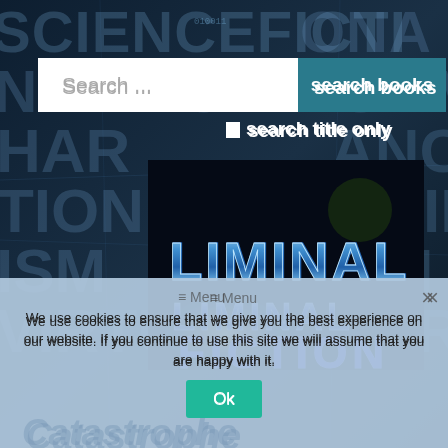[Figure (screenshot): Website screenshot of Liminal Fiction sci-fi book search site with dark blue sci-fi word collage background showing words like SCIENCE, FICTION, HAR, TIONS, ISM, VIRTUAL, etc.]
Search ...
search books
search title only
[Figure (logo): Liminal Fiction logo on black background with metallic blue LIMINAL text on top and purple/blue FICTION text below, with a bright flare light effect]
Menu
We use cookies to ensure that we give you the best experience on our website. If you continue to use this site we will assume that you are happy with it.
Ok
Catastrophe